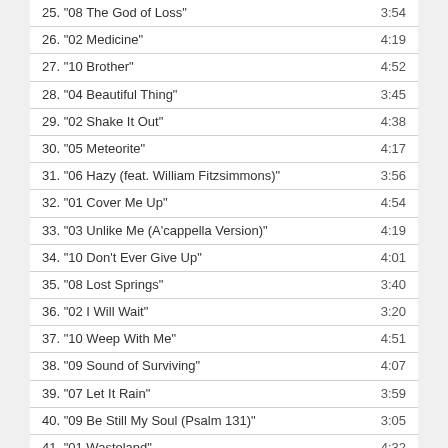25. "08 The God of Loss" 3:54
26. "02 Medicine" 4:19
27. "10 Brother" 4:52
28. "04 Beautiful Thing" 3:45
29. "02 Shake It Out" 4:38
30. "05 Meteorite" 4:17
31. "06 Hazy (feat. William Fitzsimmons)" 3:56
32. "01 Cover Me Up" 4:54
33. "03 Unlike Me (A'cappella Version)" 4:19
34. "10 Don't Ever Give Up" 4:01
35. "08 Lost Springs" 3:40
36. "02 I Will Wait" 3:20
37. "10 Weep With Me" 4:51
38. "09 Sound of Surviving" 4:07
39. "07 Let It Rain" 3:59
40. "09 Be Still My Soul (Psalm 131)" 3:05
41. "01 Wasteland" 4:32
42. "03 Gravity" 3:02
43. "05 Lose You" 4:35
44. "12 You Never Asked Me" 3:38